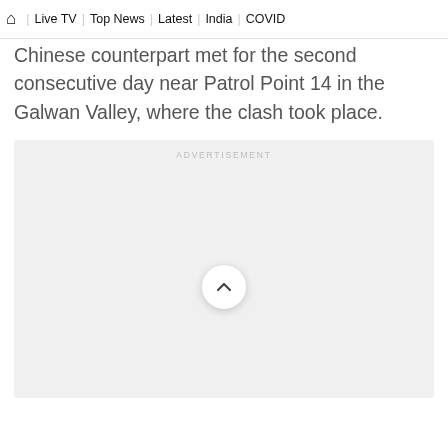🏠 | Live TV | Top News | Latest | India | COVID
Chinese counterpart met for the second consecutive day near Patrol Point 14 in the Galwan Valley, where the clash took place.
[Figure (other): Advertisement placeholder box with label 'ADVERTISEMENT' and a scroll-to-top circular button in the center]